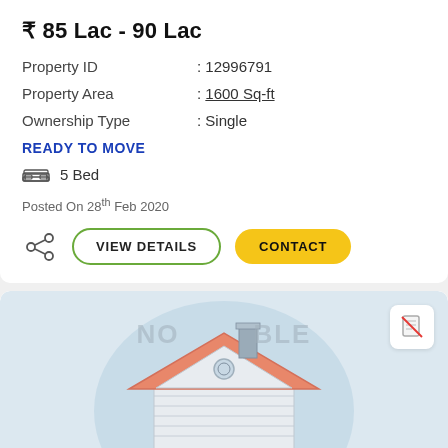₹ 85 Lac - 90 Lac
Property ID : 12996791
Property Area : 1600 Sq-ft
Ownership Type : Single
READY TO MOVE
5 Bed
Posted On 28th Feb 2020
[Figure (illustration): House illustration with orange roof and circular window, shown with 'NOT AVAILABLE' watermark overlay on a light blue-grey background]